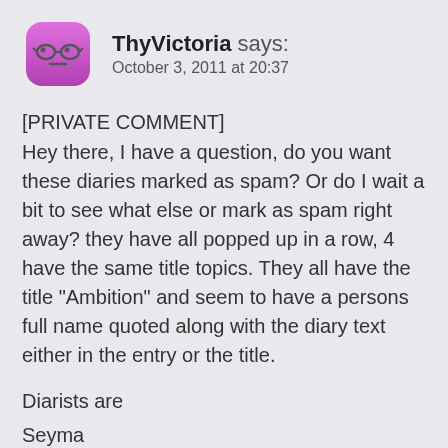ThyVictoria says: October 3, 2011 at 20:37
[PRIVATE COMMENT]
Hey there, I have a question, do you want these diaries marked as spam? Or do I wait a bit to see what else or mark as spam right away? they have all popped up in a row, 4 have the same title topics. They all have the title "Ambition" and seem to have a persons full name quoted along with the diary text either in the entry or the title.
Diarists are
Seyma
Gizem
ecebuyuran
nagihan